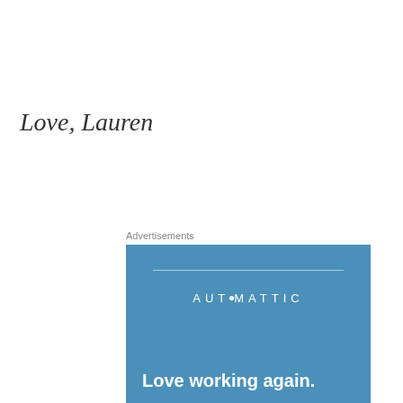Love, Lauren
Advertisements
[Figure (advertisement): Automattic advertisement banner with blue background, company logo, and tagline 'Love working again.']
Privacy & Cookies: This site uses cookies. By continuing to use this website, you agree to their use.
To find out more, including how to control cookies, see here:
Cookie Policy
Close and accept